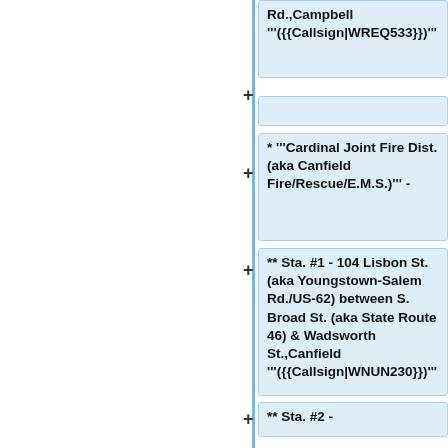Rd.,Campbell '''({{Callsign|WREQ533}})'''
+ (empty row)
* '''Cardinal Joint Fire Dist. (aka Canfield Fire/Rescue/E.M.S.)''' -
** Sta. #1 - 104 Lisbon St. (aka Youngstown-Salem Rd./US-62) between S. Broad St. (aka State Route 46) & Wadsworth St.,Canfield '''({{Callsign|WNUN230}})'''
** Sta. #2 -
*** Current Sta. - 7075 Herbert Rd. (aka County Route 110) between S. Turner Rd. & Laurel Hills